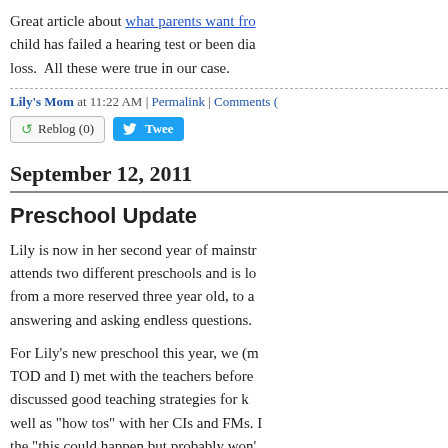Great article about what parents want from [link] child has failed a hearing test or been diagnosed with hearing loss.  All these were true in our case.
Lily's Mom at 11:22 AM | Permalink | Comments [truncated]
Reblog (0)   Tweet
September 12, 2011
Preschool Update
Lily is now in her second year of mainstream [truncated] attends two different preschools and is lo... from a more reserved three year old, to a... answering and asking endless questions.
For Lily's new preschool this year, we (m... TOD and I) met with the teachers before... discussed good teaching strategies for k... well as "how tos" with her CIs and FMs. [truncated] the "this could happen but probably won'... teachers the most.  We also asked the p... spray on the plastic slides and plastic pla...